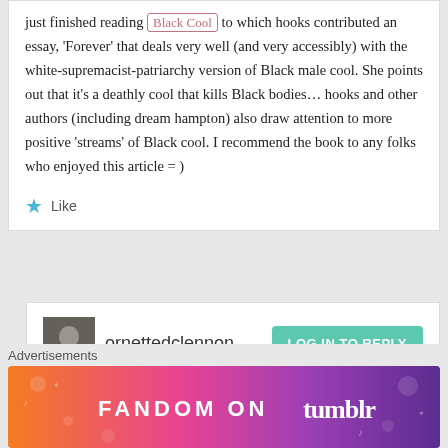just finished reading Black Cool to which hooks contributed an essay, 'Forever' that deals very well (and very accessibly) with the white-supremacist-patriarchy version of Black male cool. She points out that it's a deathly cool that kills Black bodies... hooks and other authors (including dream hampton) also draw attention to more positive 'streams' of Black cool. I recommend the book to any folks who enjoyed this article = )
Like
ornettedclennon
LOG IN TO REPLY
November 20, 2013 at 17:39
Advertisements